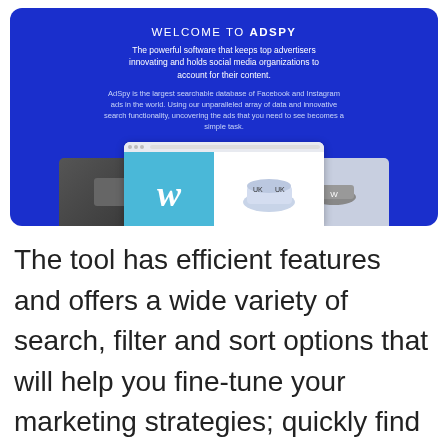[Figure (screenshot): AdSpy welcome banner on blue background with title 'WELCOME TO ADSPY', subtitle text, a GET STARTED orange button, and a screenshot mockup showing the AdSpy interface with a cyan 'W' logo card and product images]
The tool has efficient features and offers a wide variety of search, filter and sort options that will help you fine-tune your marketing strategies; quickly find a Winner and above all innovate more quickly. Although the tool has everything you need to break into dropshipping, the Adspy Pricing